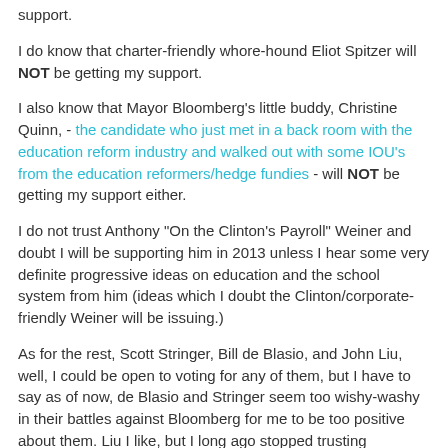support.
I do know that charter-friendly whore-hound Eliot Spitzer will NOT be getting my support.
I also know that Mayor Bloomberg's little buddy, Christine Quinn, - the candidate who just met in a back room with the education reform industry and walked out with some IOU's from the education reformers/hedge fundies - will NOT be getting my support either.
I do not trust Anthony "On the Clinton's Payroll" Weiner and doubt I will be supporting him in 2013 unless I hear some very definite progressive ideas on education and the school system from him (ideas which I doubt the Clinton/corporate-friendly Weiner will be issuing.)
As for the rest, Scott Stringer, Bill de Blasio, and John Liu, well, I could be open to voting for any of them, but I have to say as of now, de Blasio and Stringer seem too wishy-washy in their battles against Bloomberg for me to be too positive about them. Liu I like, but I long ago stopped trusting